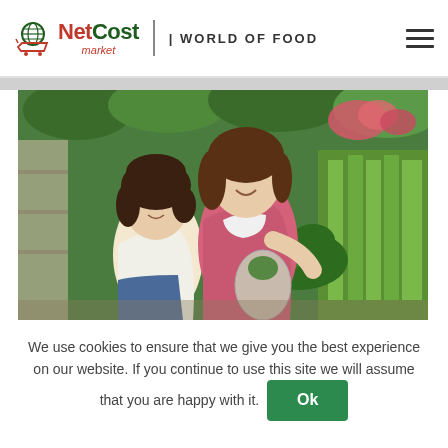NetCost market | WORLD OF FOOD
[Figure (photo): A mother and young daughter shopping for vegetables and broccoli at a grocery store produce section, both smiling]
We use cookies to ensure that we give you the best experience on our website. If you continue to use this site we will assume that you are happy with it. Ok